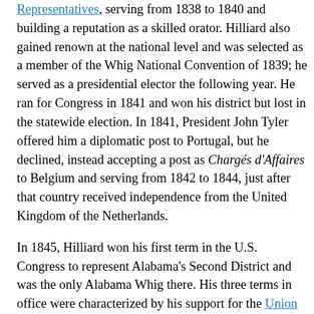Representatives, serving from 1838 to 1840 and building a reputation as a skilled orator. Hilliard also gained renown at the national level and was selected as a member of the Whig National Convention of 1839; he served as a presidential elector the following year. He ran for Congress in 1841 and won his district but lost in the statewide election. In 1841, President John Tyler offered him a diplomatic post to Portugal, but he declined, instead accepting a post as Chargés d'Affaires to Belgium and serving from 1842 to 1844, just after that country received independence from the United Kingdom of the Netherlands.
In 1845, Hilliard won his first term in the U.S. Congress to represent Alabama's Second District and was the only Alabama Whig there. His three terms in office were characterized by his support for the Union in opposition to growing sectionalism. When the Wilmot Proviso denied the expansion of slavery to U.S. territories acquired in the Mexican War, Hilliard was forced to navigate between support for the institution of slavery as a southerner and his belief in the Union. His attempts to reconcile the two were...